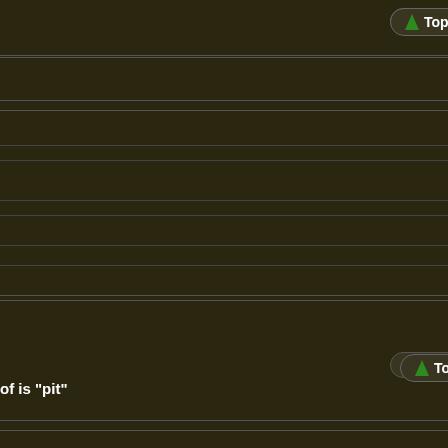[Figure (screenshot): Left panel: dark brown background with horizontal dividers, 'Top' buttons with green arrows, and partial text 'of is "pit"'. Right panel: forum sidebar with latest posts list on tan/brown background.]
Technical Help
Bug with Amazons?
by xorx 1 day ago
Playing Widelands
Szenario Friesen 4
by waldecker 4 days ago
Technical Help
Scrollen mit rechter Maustaste
by waldecker 5 days ago
Translations & Internationalization
Automated translation checks
by hessenfarmer 5 days ago
Technical Help
Bug in LuaTable ?
by waldecker 5 days ago
More latest posts